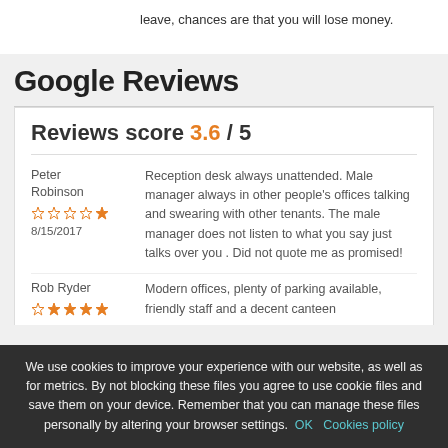leave, chances are that you will lose money.
Google Reviews
Reviews score 3.6 / 5
Peter Robinson
8/15/2017
Reception desk always unattended. Male manager always in other people's offices talking and swearing with other tenants. The male manager does not listen to what you say just talks over you . Did not quote me as promised!
Rob Ryder
Modern offices, plenty of parking available, friendly staff and a decent canteen
We use cookies to improve your experience with our website, as well as for metrics. By not blocking these files you agree to use cookie files and save them on your device. Remember that you can manage these files personally by altering your browser settings. OK  Cookies policy